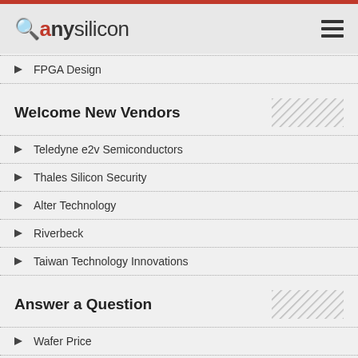anysilicon
FPGA Design
Welcome New Vendors
Teledyne e2v Semiconductors
Thales Silicon Security
Alter Technology
Riverbeck
Taiwan Technology Innovations
Answer a Question
Wafer Price
FIB operation
What is Clock Domain Crossing in ASIC design?